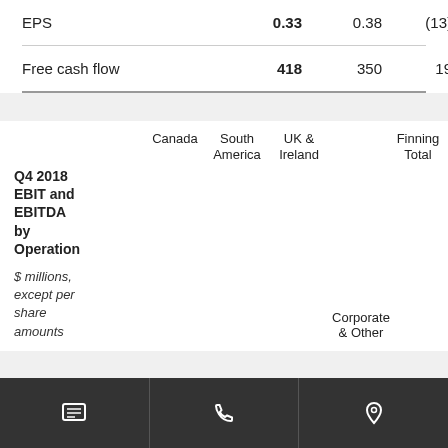|  | Current | Prior | Change |
| --- | --- | --- | --- |
| EPS | 0.33 | 0.38 | (13) |
| Free cash flow | 418 | 350 | 19 |
| Q4 2018 EBIT and EBITDA by Operation | Canada | South America | UK & Ireland | Corporate & Other | Finning Total | EPS |
| --- | --- | --- | --- | --- | --- | --- |